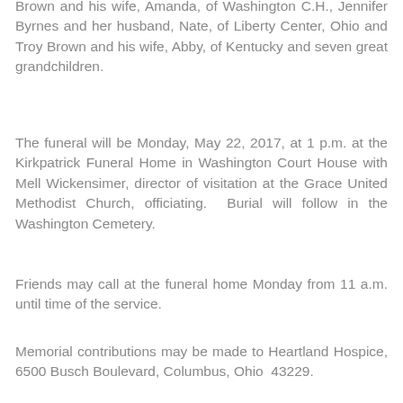Brown and his wife, Amanda, of Washington C.H., Jennifer Byrnes and her husband, Nate, of Liberty Center, Ohio and Troy Brown and his wife, Abby, of Kentucky and seven great grandchildren.
The funeral will be Monday, May 22, 2017, at 1 p.m. at the Kirkpatrick Funeral Home in Washington Court House with Mell Wickensimer, director of visitation at the Grace United Methodist Church, officiating.  Burial will follow in the Washington Cemetery.
Friends may call at the funeral home Monday from 11 a.m. until time of the service.
Memorial contributions may be made to Heartland Hospice, 6500 Busch Boulevard, Columbus, Ohio  43229.